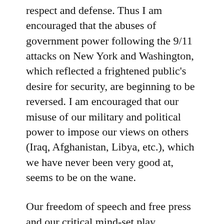respect and defense. Thus I am encouraged that the abuses of government power following the 9/11 attacks on New York and Washington, which reflected a frightened public's desire for security, are beginning to be reversed. I am encouraged that our misuse of our military and political power to impose our views on others (Iraq, Afghanistan, Libya, etc.), which we have never been very good at, seems to be on the wane.
Our freedom of speech and free press and our critical mind-set play important roles in the never-ending fight to keep leviathan at bay. The trauma of 9/11 brought out the best and worst in my country. The dangerous excesses of the government are beginning to be reversed.